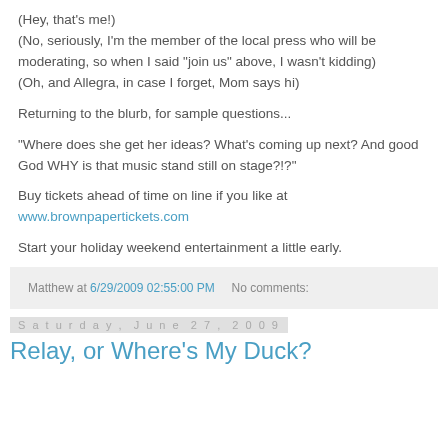(Hey, that's me!)
(No, seriously, I'm the member of the local press who will be moderating, so when I said "join us" above, I wasn't kidding)
(Oh, and Allegra, in case I forget, Mom says hi)
Returning to the blurb, for sample questions...
"Where does she get her ideas? What's coming up next? And good God WHY is that music stand still on stage?!?"
Buy tickets ahead of time on line if you like at
www.brownpapertickets.com
Start your holiday weekend entertainment a little early.
Matthew at 6/29/2009 02:55:00 PM   No comments:
Saturday, June 27, 2009
Relay, or Where's My Duck?